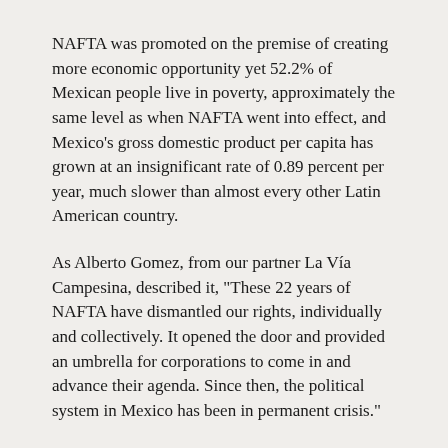NAFTA was promoted on the premise of creating more economic opportunity yet 52.2% of Mexican people live in poverty, approximately the same level as when NAFTA went into effect, and Mexico’s gross domestic product per capita has grown at an insignificant rate of 0.89 percent per year, much slower than almost every other Latin American country.
As Alberto Gomez, from our partner La Vía Campesina, described it, “These 22 years of NAFTA have dismantled our rights, individually and collectively. It opened the door and provided an umbrella for corporations to come in and advance their agenda. Since then, the political system in Mexico has been in permanent crisis.”
LAND REFORM AND FREE TRADE